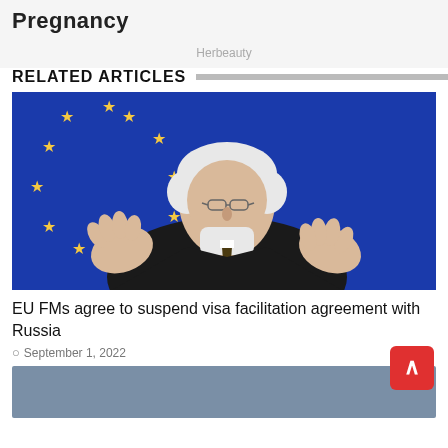Pregnancy
Herbeauty
RELATED ARTICLES
[Figure (photo): Older man with white hair and glasses, wearing a dark suit and tie with a white face mask pulled down, gesturing with both hands in front of an EU flag background.]
EU FMs agree to suspend visa facilitation agreement with Russia
September 1, 2022
[Figure (photo): Partially visible second article thumbnail with blue-grey background.]